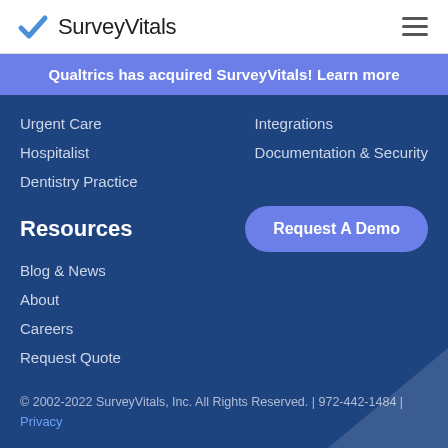SurveyVitals
Qualtrics has acquired SurveyVitals! Learn more
Urgent Care
Integrations
Hospitalist
Documentation & Security
Dentistry Practice
Resources
Blog & News
About
Careers
Request Quote
© 2002-2022 SurveyVitals, Inc. All Rights Reserved. | 972-442-1484 | Privacy